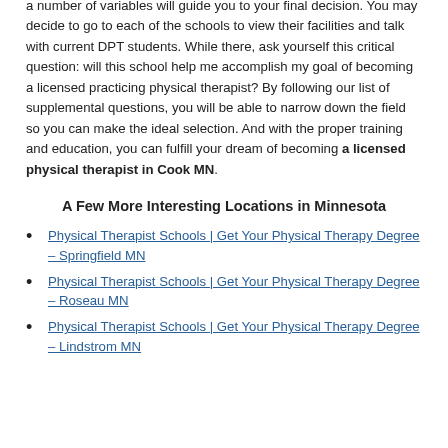a number of variables will guide you to your final decision. You may decide to go to each of the schools to view their facilities and talk with current DPT students. While there, ask yourself this critical question: will this school help me accomplish my goal of becoming a licensed practicing physical therapist? By following our list of supplemental questions, you will be able to narrow down the field so you can make the ideal selection. And with the proper training and education, you can fulfill your dream of becoming a licensed physical therapist in Cook MN.
A Few More Interesting Locations in Minnesota
Physical Therapist Schools | Get Your Physical Therapy Degree – Springfield MN
Physical Therapist Schools | Get Your Physical Therapy Degree – Roseau MN
Physical Therapist Schools | Get Your Physical Therapy Degree – Lindstrom MN